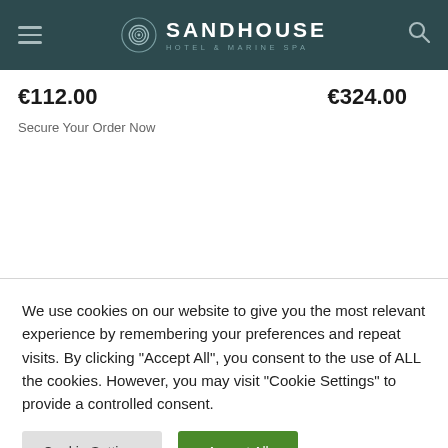SANDHOUSE HOTEL & MARINE SPA
€112.00    €324.00
Secure Your Order Now
We use cookies on our website to give you the most relevant experience by remembering your preferences and repeat visits. By clicking "Accept All", you consent to the use of ALL the cookies. However, you may visit "Cookie Settings" to provide a controlled consent.
Cookie Settings | Accept All